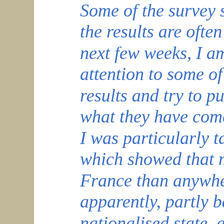Some of the survey sampl the results are often contr next few weeks, I am goin attention to some of the s results and try to put som what they have come up w I was particularly taken w which showed that more p France than anywhere else apparently, partly because nationalised state, and mo elsewhere have jobs in nat Many of these jobs are in revealing case, the individ work at 8.30 am and, on a midnight (the ls 8)